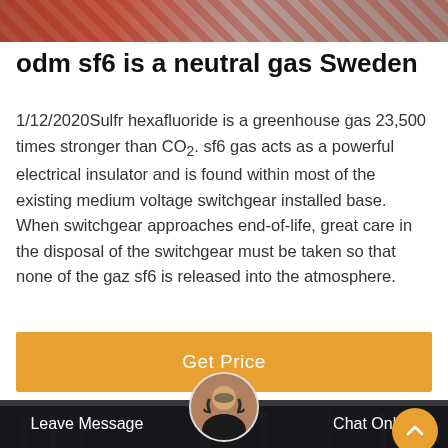[Figure (photo): Top banner image showing industrial/electrical equipment with red and gray tones]
odm sf6 is a neutral gas Sweden
1/12/2020Sulfr hexafluoride is a greenhouse gas 23,500 times stronger than CO2. sf6 gas acts as a powerful electrical insulator and is found within most of the existing medium voltage switchgear installed base. When switchgear approaches end-of-life, great care in the disposal of the switchgear must be taken so that none of the gaz sf6 is released into the atmosphere.
[Figure (other): Orange 'Get Price' call-to-action button]
[Figure (photo): Bottom photo of electrical substation/switchgear infrastructure in dark industrial setting]
Leave Message
Chat Online